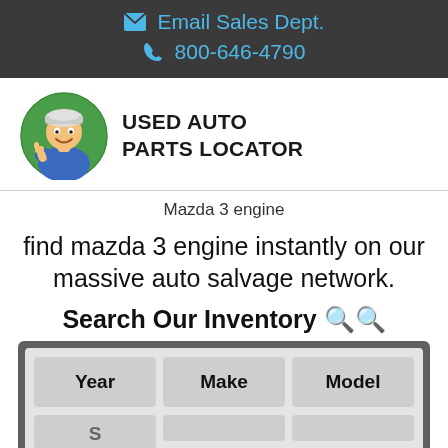Email Sales Dept.  |  800-646-4790
[Figure (logo): Used Auto Parts Locator logo with cartoon mechanic in blue uniform giving thumbs up inside a green circle]
Used Auto Parts Locator
Mazda 3 engine
find mazda 3 engine instantly on our massive auto salvage network.
Search Our Inventory 🔍
| Year | Make | Model |
| --- | --- | --- |
|  |  |  |